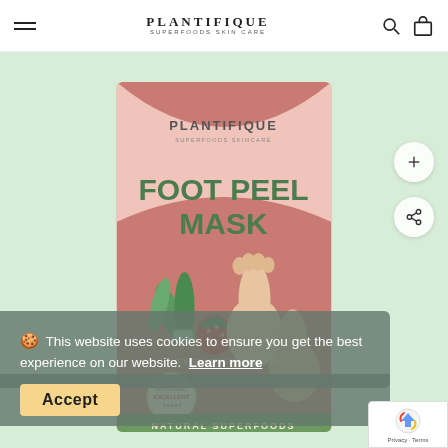PLANTIFIQUE — Superfoods Skin Care
[Figure (photo): Plantifique Foot Peel Mask product box on a light green background. The box shows the PLANTIFIQUE logo, text FOOT PEEL MASK in large green letters, images of aloe vera and strawberries, two bare feet, a badge reading ORIGINAL EXCELLENT, and text NATURAL SUPERFOODS at the bottom. Also shows a text bullet: EXFOLIATES DEAD SKIN.]
🍪 This website uses cookies to ensure you get the best experience on our website. Learn more
Accept